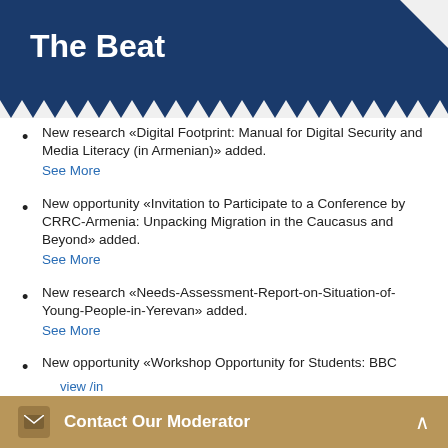The Beat
New research «Digital Footprint: Manual for Digital Security and Media Literacy (in Armenian)» added.
See More
New opportunity «Invitation to Participate to a Conference by CRRC-Armenia: Unpacking Migration in the Caucasus and Beyond» added.
See More
New research «Needs-Assessment-Report-on-Situation-of-Young-People-in-Yerevan» added.
See More
New opportunity «Workshop Opportunity for Students: BBC Media Action Journalism skills development workshops» added.
See More
New opportunity «Granting and Training Opportunity: Global Week to Act For Sustainable Development Goals 2022» added.
Contact Our Moderator